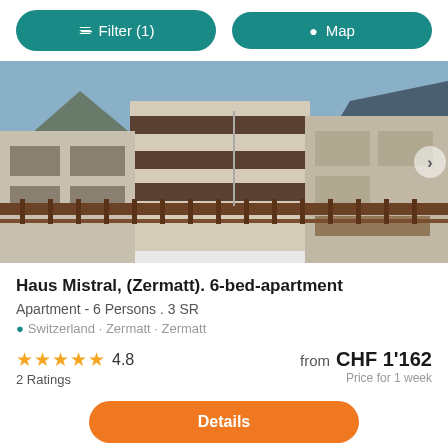Filter (1)   Map
[Figure (photo): Exterior photo of Haus Mistral apartment building in Zermatt, Switzerland during winter. Multi-storey building with balconies, wooden fence in foreground covered in snow, mountains in background.]
Haus Mistral, (Zermatt). 6-bed-apartment
Apartment - 6 Persons . 3 SR
Switzerland · Zermatt · Zermatt
★★★★★ 4.8
2 Ratings
from  CHF 1'162
Price for 1 week
Details